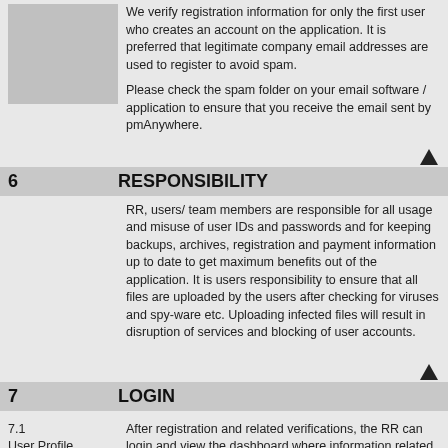[Figure (other): Gray placeholder image box on left side of top section]
We verify registration information for only the first user who creates an account on the application. It is preferred that legitimate company email addresses are used to register to avoid spam.

Please check the spam folder on your email software / application to ensure that you receive the email sent by pmAnywhere.
6  RESPONSIBILITY
RR, users/ team members are responsible for all usage and misuse of user IDs and passwords and for keeping backups, archives, registration and payment information up to date to get maximum benefits out of the application. It is users responsibility to ensure that all files are uploaded by the users after checking for viruses and spy-ware etc. Uploading infected files will result in disruption of services and blocking of user accounts.
7  LOGIN
7.1
User Profile
After registration and related verifications, the RR can login and view the dashboard where information related to the user profile is given. All team members when created by the RR (from RESOURCES/ MY TEAM) can also login after acquiring the credentials from the RR